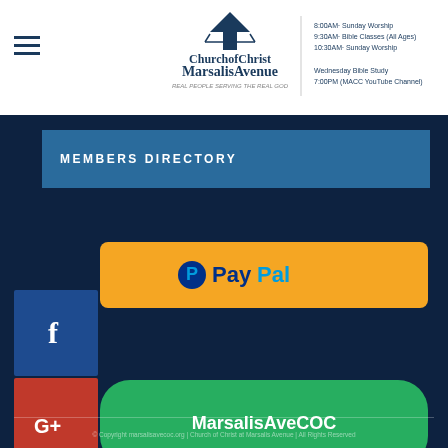Church of Christ Marsalis Avenue | REAL PEOPLE SERVING THE REAL GOD
8:00AM Sunday Worship | 9:30AM Bible Classes (All Ages) | 10:30AM Sunday Worship
Wednesday Bible Study 7:00PM (MACC YouTube Channel)
MEMBERS DIRECTORY
[Figure (logo): PayPal payment button (orange rounded rectangle with PayPal logo and text)]
[Figure (logo): Facebook icon (dark blue square with white f logo)]
[Figure (logo): Google+ icon (red square with G+ text) and MarsalisAveCOC green pill button]
[Figure (logo): Twitter icon (light blue square with bird logo)]
[Figure (logo): Pinterest icon (red square with P logo)]
isitors Weekly: 1708  |  Unique Visitors Week...
Facebook: 2.2K Followers  |  YouTube: 1.18K Sub...
Updated: August 8, 2022